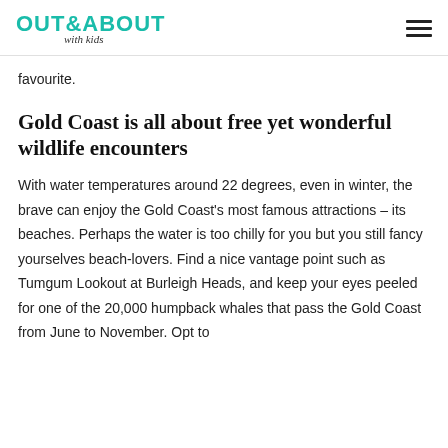OUT&ABOUT with kids
favourite.
Gold Coast is all about free yet wonderful wildlife encounters
With water temperatures around 22 degrees, even in winter, the brave can enjoy the Gold Coast's most famous attractions – its beaches. Perhaps the water is too chilly for you but you still fancy yourselves beach-lovers. Find a nice vantage point such as Tumgum Lookout at Burleigh Heads, and keep your eyes peeled for one of the 20,000 humpback whales that pass the Gold Coast from June to November. Opt to